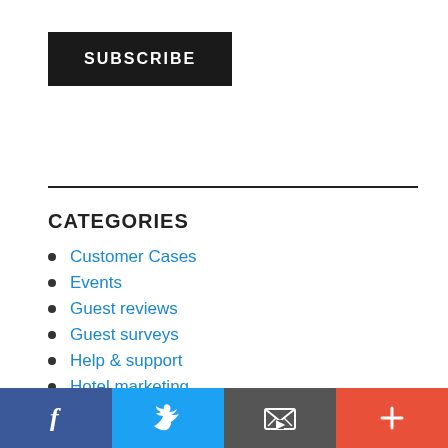[Figure (other): SUBSCRIBE button – black rectangle with white bold uppercase text]
CATEGORIES
Customer Cases
Events
Guest reviews
Guest surveys
Help & support
Hotel marketing
[Figure (other): Social media bar with Facebook, Twitter, email, and plus icons]